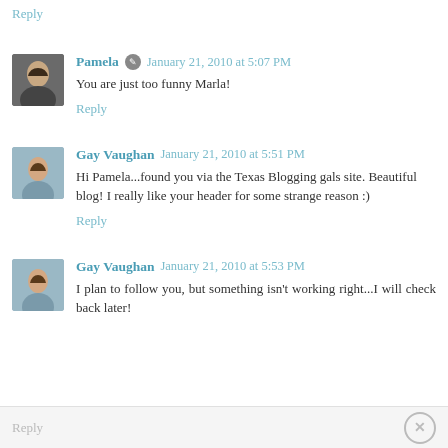Reply
Pamela · January 21, 2010 at 5:07 PM
You are just too funny Marla!
Reply
Gay Vaughan January 21, 2010 at 5:51 PM
Hi Pamela...found you via the Texas Blogging gals site. Beautiful blog! I really like your header for some strange reason :)
Reply
Gay Vaughan January 21, 2010 at 5:53 PM
I plan to follow you, but something isn't working right...I will check back later!
Reply